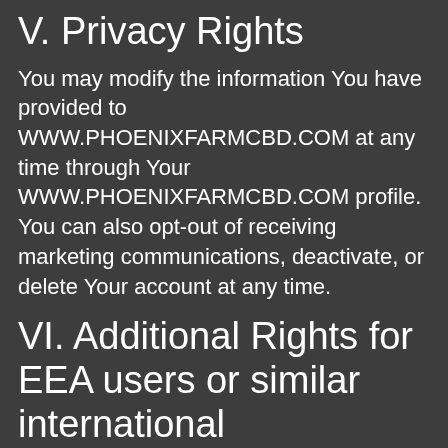V. Privacy Rights
You may modify the information You have provided to WWW.PHOENIXFARMCBD.COM at any time through Your WWW.PHOENIXFARMCBD.COM profile. You can also opt-out of receiving marketing communications, deactivate, or delete Your account at any time.
VI. Additional Rights for EEA users or similar international